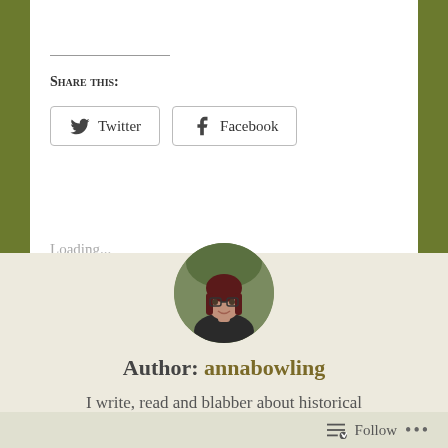Share this:
Twitter
Facebook
Loading...
[Figure (photo): Circular portrait photo of author annabowling, a woman with dark reddish hair and glasses]
Author: annabowling
I write, read and blabber about historical
Follow